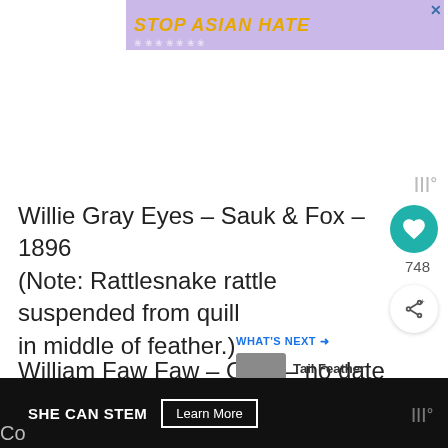[Figure (illustration): Purple banner ad with text STOP ASIAN HATE in orange italic bold letters, white flower decorations, and an anime-style woman illustration, with a close X button in top right]
Willie Gray Eyes – Sauk & Fox – 1896 (Note: Rattlesnake rattle suspended from quill in middle of feather.)
William Faw Faw – Otoe – no date
[Figure (infographic): What's Next panel with thumbnail image and text: Tail Feather Fans |...]
[Figure (infographic): Bottom dark ad bar with SHE CAN STEM text and Learn More button and Moat logo]